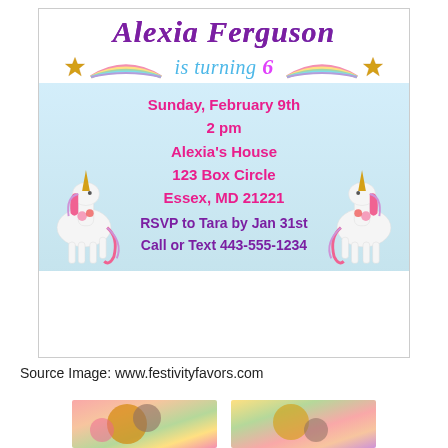[Figure (illustration): A birthday party invitation card for Alexia Ferguson turning 6. White background with unicorn illustrations on left and right sides, rainbow arcs with gold stars, blue watercolor mid-section. Text includes date Sunday February 9th, 2pm, Alexia's House, 123 Box Circle, Essex MD 21221, RSVP to Tara by Jan 31st, Call or Text 443-555-1234.]
Source Image: www.festivityfavors.com
[Figure (photo): Two partial floral/decorative images at the bottom of the page, partially cropped.]